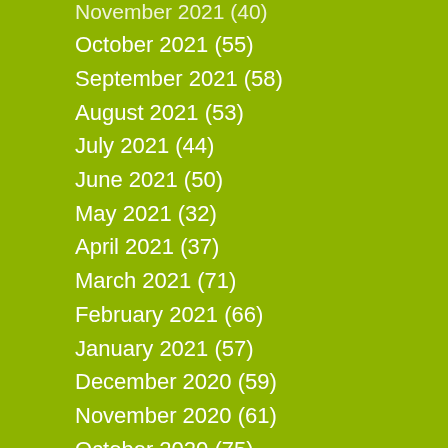November 2021 (40)
October 2021 (55)
September 2021 (58)
August 2021 (53)
July 2021 (44)
June 2021 (50)
May 2021 (32)
April 2021 (37)
March 2021 (71)
February 2021 (66)
January 2021 (57)
December 2020 (59)
November 2020 (61)
October 2020 (75)
September 2020 (71)
August 2020 (56)
July 2020 (71)
June 2020 (58)
May 2020 (67)
April 2020 (77)